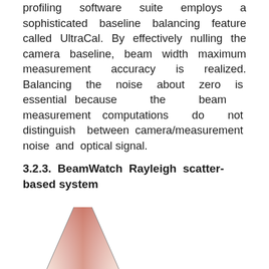profiling software suite employs a sophisticated baseline balancing feature called UltraCal. By effectively nulling the camera baseline, beam width maximum measurement accuracy is realized. Balancing the noise about zero is essential because the beam measurement computations do not distinguish between camera/measurement noise and optical signal.
3.2.3. BeamWatch Rayleigh scatter-based system
[Figure (illustration): Partial illustration of a beam (Rayleigh scatter cone shape), showing the bottom portion of a cone/funnel shape with a pinkish-reddish gradient fill, visible at the bottom of the page.]